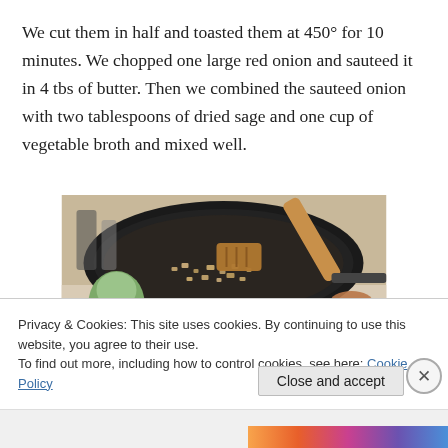We cut them in half and toasted them at 450° for 10 minutes. We chopped one large red onion and sauteed it in 4 tbs of butter. Then we combined the sauteed onion with two tablespoons of dried sage and one cup of vegetable broth and mixed well.
[Figure (photo): Photo of a frying pan with chopped onions being sautéed, with a wooden spatula, and a large pot below, on a kitchen countertop.]
Privacy & Cookies: This site uses cookies. By continuing to use this website, you agree to their use.
To find out more, including how to control cookies, see here: Cookie Policy